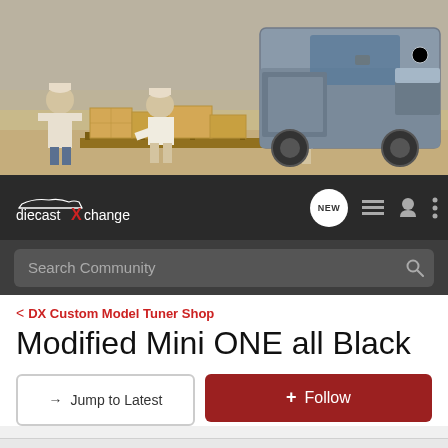[Figure (photo): Banner photo showing workers in beige uniforms unloading cardboard boxes from a gray Mercedes-Benz sprinter van outdoors]
[Figure (logo): diecastXchange logo in white text with red X on dark navigation bar, alongside NEW badge, list icon, user icon, and menu icon]
Search Community
< DX Custom Model Tuner Shop
Modified Mini ONE all Black
→ Jump to Latest
+ Follow
1 - 14 of 14 Posts
Guest ·